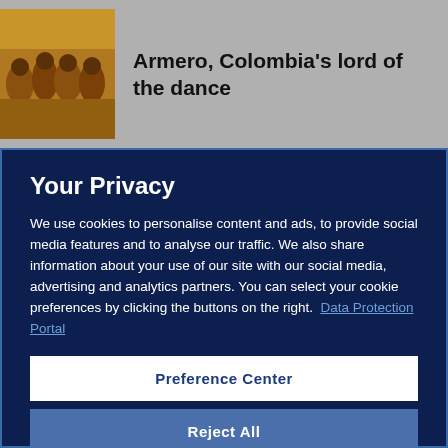[Figure (photo): Thumbnail image of Colombian soccer players in yellow jerseys celebrating]
Armero, Colombia's lord of the dance
Your Privacy
We use cookies to personalise content and ads, to provide social media features and to analyse our traffic. We also share information about your use of our site with our social media, advertising and analytics partners. You can select your cookie preferences by clicking the buttons on the right.  Data Protection Portal
Preference Center
Reject All
I'm OK with that